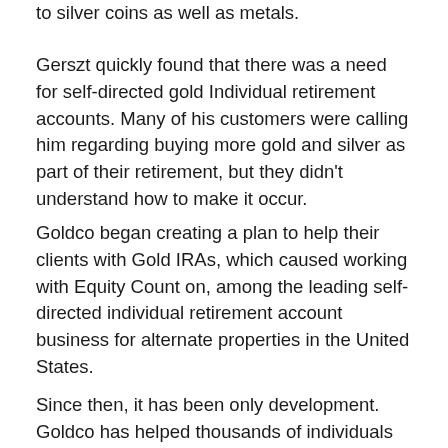to silver coins as well as metals.
Gerszt quickly found that there was a need for self-directed gold Individual retirement accounts. Many of his customers were calling him regarding buying more gold and silver as part of their retirement, but they didn't understand how to make it occur.
Goldco began creating a plan to help their clients with Gold IRAs, which caused working with Equity Count on, among the leading self-directed individual retirement account business for alternate properties in the United States.
Since then, it has been only development. Goldco has helped thousands of individuals